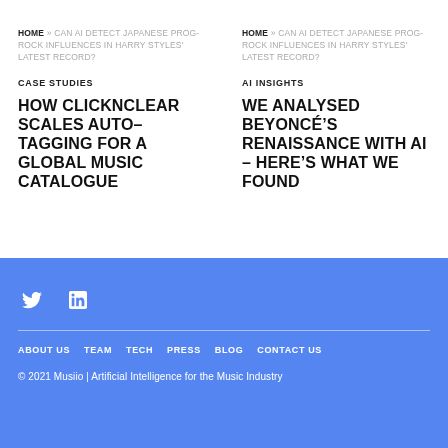HOME » CAN AI DETECT JAPANESE PROG-ROCK INFLUENCES IN HARRY STYLES' LATEST RECORD?
HOME » CAN AI DETECT JAPANESE PROG-ROCK INFLUENCES IN HARRY STYLES' LATEST RECORD?
CASE STUDIES
AI INSIGHTS
HOW CLICKNCLEAR SCALES AUTO-TAGGING FOR A GLOBAL MUSIC CATALOGUE
WE ANALYSED BEYONCÉ'S RENAISSANCE WITH AI – HERE'S WHAT WE FOUND
ABOUT US   TEAM   TECH   PRESS   BLOG   CONTACT US
© 2021 Musiio | Artificial Intelligence for the Music Industry